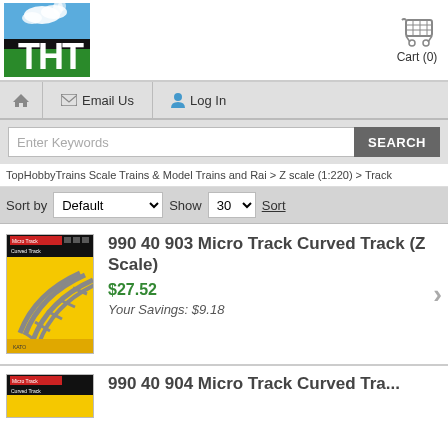[Figure (logo): THT logo with green grass, clouds, and smoke stack letter T]
[Figure (illustration): Shopping cart icon, gray outline]
Cart (0)
Email Us
Log In
Enter Keywords
SEARCH
TopHobbyTrains Scale Trains & Model Trains and Rai > Z scale (1:220) > Track
Sort by Default Show 30 Sort
[Figure (photo): Product photo of 990 40 903 Micro Track Curved Track in yellow packaging]
990 40 903 Micro Track Curved Track (Z Scale)
$27.52
Your Savings: $9.18
[Figure (photo): Partial product photo of second listing in yellow packaging]
990 40 904 Micro Track Curved Tra...